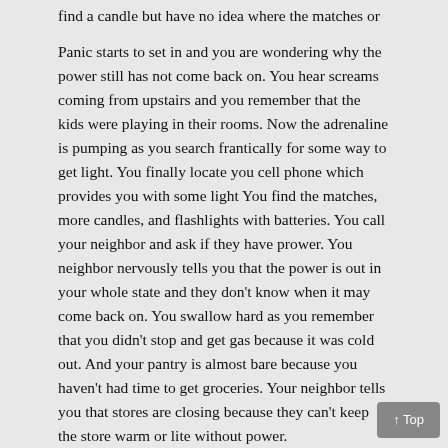find a candle but have no idea where the matches or a lighter is.
Panic starts to set in and you are wondering why the power still has not come back on.  You hear screams coming from upstairs and you remember that the kids were playing in their rooms.  Now the adrenaline is pumping as you search frantically for some way to get light.  You finally locate you cell phone which provides you with some light  You find the matches, more candles, and flashlights with batteries.  You call your neighbor and ask if they have prower.  You neighbor nervously tells you that the power is out in your whole state and they don't know when it may come back on.  You swallow hard as you remember that you didn't stop and get gas because it was cold out.  And your pantry is almost bare because you haven't had time to get groceries.  Your neighbor tells you that stores are closing because they can't keep the store warm or lite without power.
Now what?
This is just one possible scenario and it’s not that far fetched.
It’s time to pull yourself together and prepare you and your family for